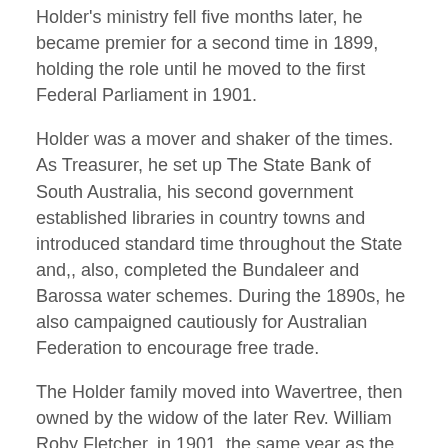Holder's ministry fell five months later, he became premier for a second time in 1899, holding the role until he moved to the first Federal Parliament in 1901.
Holder was a mover and shaker of the times. As Treasurer, he set up The State Bank of South Australia, his second government established libraries in country towns and introduced standard time throughout the State and,, also, completed the Bundaleer and Barossa water schemes. During the 1890s, he also campaigned cautiously for Australian Federation to encourage free trade.
The Holder family moved into Wavertree, then owned by the widow of the later Rev. William Roby Fletcher, in 1901, the same year as the first Federal Parliament. Holder was elected as its inaugural Speaker, a position in which he earned widespread respect for the next eight years. He was knighted in 1902.